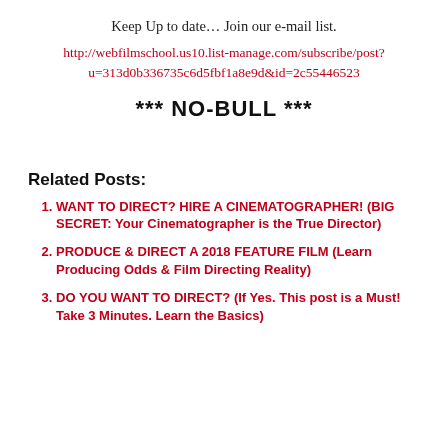Keep Up to date… Join our e-mail list.
http://webfilmschool.us10.list-manage.com/subscribe/post?u=313d0b336735c6d5fbf1a8e9d&id=2c55446523
*** NO-BULL ***
Related Posts:
WANT TO DIRECT? HIRE A CINEMATOGRAPHER! (BIG SECRET: Your Cinematographer is the True Director)
PRODUCE & DIRECT A 2018 FEATURE FILM (Learn Producing Odds & Film Directing Reality)
DO YOU WANT TO DIRECT? (If Yes. This post is a Must! Take 3 Minutes. Learn the Basics)